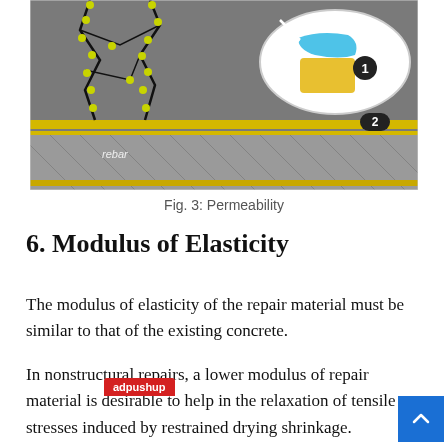[Figure (engineering-diagram): Cross-section engineering diagram of pavement repair showing cracked concrete surface with yellow dots along cracks, a yellow stripe (labeled '2'), rebar layer below, and an inset oval showing a close-up of layers labeled '1' (blue and yellow material zones). Labels: 'rebar', '2', '1'.]
Fig. 3: Permeability
6. Modulus of Elasticity
The modulus of elasticity of the repair material must be similar to that of the existing concrete.
In nonstructural repairs, a lower modulus of repair material is desirable to help in the relaxation of tensile stresses induced by restrained drying shrinkage.